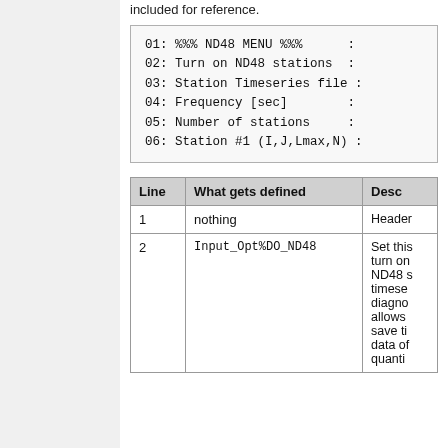included for reference.
01: %%% ND48 MENU %%%
02: Turn on ND48 stations
03: Station Timeseries file
04: Frequency [sec]
05: Number of stations
06: Station #1 (I,J,Lmax,N)
| Line | What gets defined | Description |
| --- | --- | --- |
| 1 | nothing | Header |
| 2 | Input_Opt%DO_ND48 | Set this to turn on ND48 station timeseries diagnostic. allows save timeseries data of quantities |